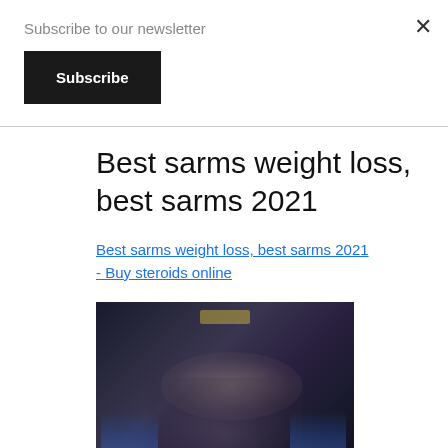Subscribe to our newsletter
Subscribe
Best sarms weight loss, best sarms 2021
Best sarms weight loss, best sarms 2021 - Buy steroids online
[Figure (photo): Blurred image showing a person and supplement bottles with colorful labels against a dark background]